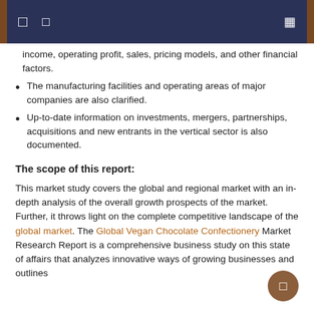income, operating profit, sales, pricing models, and other financial factors.
The manufacturing facilities and operating areas of major companies are also clarified.
Up-to-date information on investments, mergers, partnerships, acquisitions and new entrants in the vertical sector is also documented.
The scope of this report:
This market study covers the global and regional market with an in-depth analysis of the overall growth prospects of the market. Further, it throws light on the complete competitive landscape of the global market. The Global Vegan Chocolate Confectionery Market Research Report is a comprehensive business study on this state of affairs that analyzes innovative ways of growing businesses and outlines